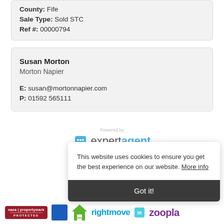County: Fife
Sale Type: Sold STC
Ref #: 00000794
Susan Morton
Morton Napier
E: susan@mortonnapier.com
P: 01592 565111
Powered by expertagent
This website uses cookies to ensure you get the best experience on our website. More info
Got it!
[Figure (logo): Footer logos: NAEA Propertymark Protected, DPS, rightmove, Zoopla]